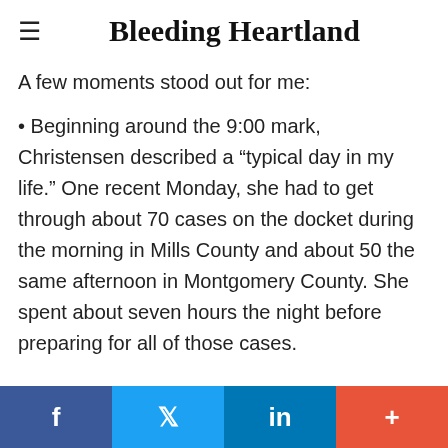Bleeding Heartland
A few moments stood out for me:
Beginning around the 9:00 mark, Christensen described a "typical day in my life." One recent Monday, she had to get through about 70 cases on the docket during the morning in Mills County and about 50 the same afternoon in Montgomery County. She spent about seven hours the night before preparing for all of those cases.